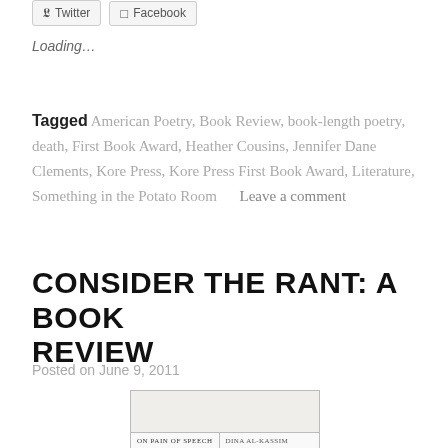[Figure (screenshot): Social sharing buttons for Twitter and Facebook]
Loading…
Tagged American Poetry, Book Review, book-length poetry, death, First Book Award, Heather Cousins, Jennifer Dane Clements, Kore Press, Kore Press First Book Award, Literature, Something in the Potato Room   Leave a comment
CONSIDER THE RANT: A BOOK REVIEW
Posted on June 9, 2011
[Figure (photo): Book cover image showing 'ON PAIN OF SPEECH' by DINA AL-KASSIM]